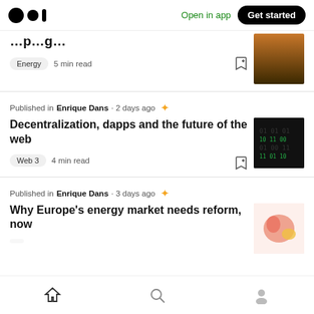Medium logo | Open in app | Get started
Published in Enrique Dans · 2 days ago
Decentralization, dapps and the future of the web
Web 3   4 min read
Published in Enrique Dans · 3 days ago
Why Europe's energy market needs reform, now
Home | Search | Profile